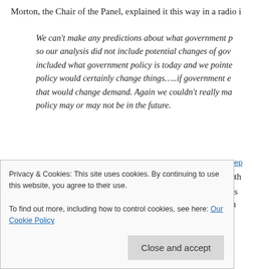Morton, the Chair of the Panel, explained it this way in a radio i...
We can't make any predictions about what government p... so our analysis did not include potential changes of go... included what government policy is today and we pointe... policy would certainly change things…..if government e... that would change demand. Again we couldn't really ma... policy may or may not be in the future.
Reading and re-reading that quote I cannot believe that the Ch... make that statement in light of what we already know about ... disconcerting is that page 129 of the Report includes text from... that defines British Columbia's energy objectives and enumer...
Privacy & Cookies: This site uses cookies. By continuing to use this website, you agree to their use.
To find out more, including how to control cookies, see here: Our Cookie Policy